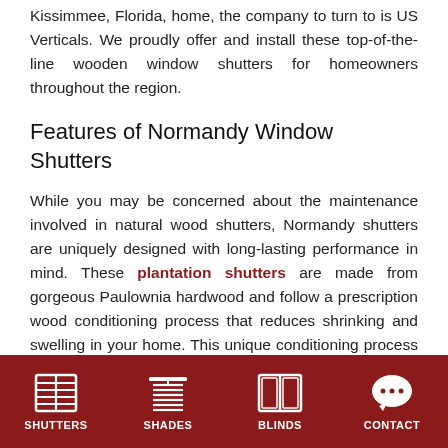Kissimmee, Florida, home, the company to turn to is US Verticals. We proudly offer and install these top-of-the-line wooden window shutters for homeowners throughout the region.
Features of Normandy Window Shutters
While you may be concerned about the maintenance involved in natural wood shutters, Normandy shutters are uniquely designed with long-lasting performance in mind. These plantation shutters are made from gorgeous Paulownia hardwood and follow a prescription wood conditioning process that reduces shrinking and swelling in your home. This unique conditioning process is location-specific, ensuring it will perform at its best in your Florida home.
SHUTTERS  SHADES  BLINDS  CONTACT